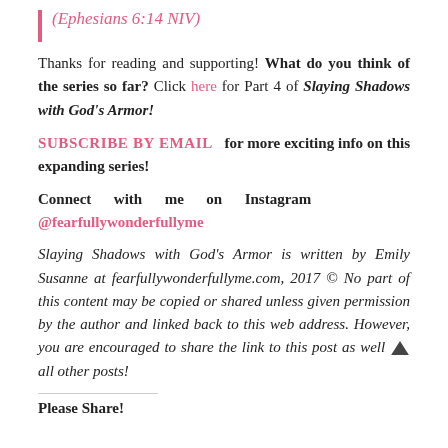(Ephesians 6:14 NIV)
Thanks for reading and supporting! What do you think of the series so far? Click here for Part 4 of Slaying Shadows with God's Armor!
SUBSCRIBE BY EMAIL  for more exciting info on this expanding series!
Connect with me on Instagram @fearfullywonderfullyme
Slaying Shadows with God's Armor is written by Emily Susanne at fearfullywonderfullyme.com, 2017 © No part of this content may be copied or shared unless given permission by the author and linked back to this web address. However, you are encouraged to share the link to this post as well as all other posts!
Please Share!